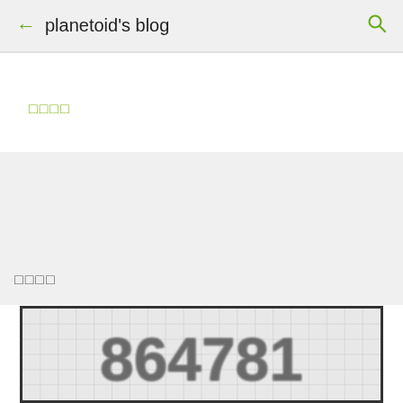planetoid's blog
□□□□
□□□□
[Figure (screenshot): A blurred image showing the number 864781 displayed in a grid/pixel style on a light gray background with grid lines.]